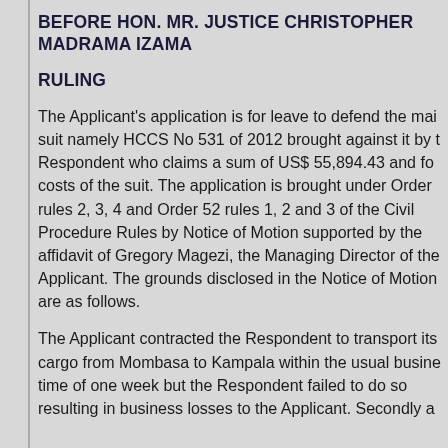BEFORE HON. MR. JUSTICE CHRISTOPHER MADRAMA IZAMA
RULING
The Applicant's application is for leave to defend the main suit namely HCCS No 531 of 2012 brought against it by the Respondent who claims a sum of US$ 55,894.43 and for costs of the suit. The application is brought under Order 3 rules 2, 3, 4 and Order 52 rules 1, 2 and 3 of the Civil Procedure Rules by Notice of Motion supported by the affidavit of Gregory Magezi, the Managing Director of the Applicant. The grounds disclosed in the Notice of Motion are as follows.
The Applicant contracted the Respondent to transport its cargo from Mombasa to Kampala within the usual business time of one week but the Respondent failed to do so resulting in business losses to the Applicant. Secondly a